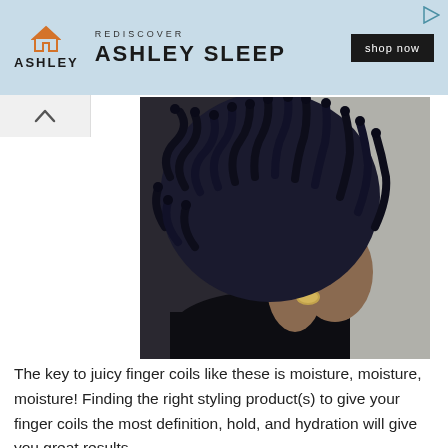[Figure (screenshot): Ashley Sleep advertisement banner with house logo, 'REDISCOVER' text, 'ASHLEY SLEEP' heading, and 'shop now' button on light blue background]
[Figure (photo): Person shown from behind and side, with dark blue finger coil natural hairstyle, wearing a black turtleneck and gold leaf earring, against a textured wall]
The key to juicy finger coils like these is moisture, moisture, moisture! Finding the right styling product(s) to give your finger coils the most definition, hold, and hydration will give you great results.